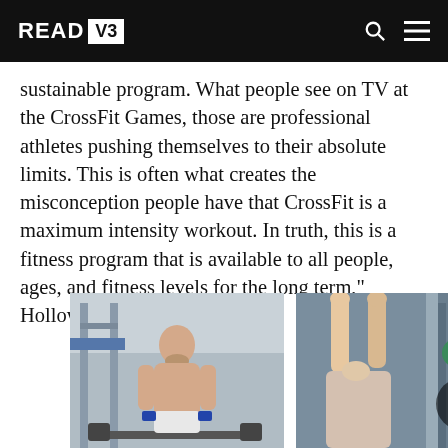READ V3
sustainable program. What people see on TV at the CrossFit Games, those are professional athletes pushing themselves to their absolute limits. This is often what creates the misconception people have that CrossFit is a maximum intensity workout. In truth, this is a fitness program that is available to all people, ages, and fitness levels for the long term,” Holloway says.
[Figure (photo): A bald, shirtless muscular man standing in a CrossFit gym near barbells and pull-up rig equipment]
[Figure (photo): A person with hands raised overhead in a CrossFit gym setting, with colorful equipment visible in background]